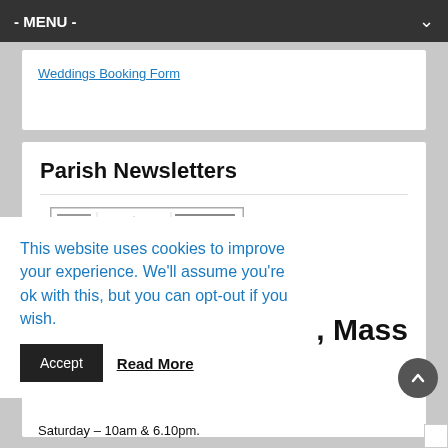- MENU -
Weddings Booking Form
Parish Newsletters
[Figure (screenshot): Thumbnail image of a parish newsletter document with multiple columns of text and a cross symbol at the top center.]
This website uses cookies to improve your experience. We'll assume you're ok with this, but you can opt-out if you wish.
Accept
Read More
on, Mass
Saturday – 10am & 6.10pm.